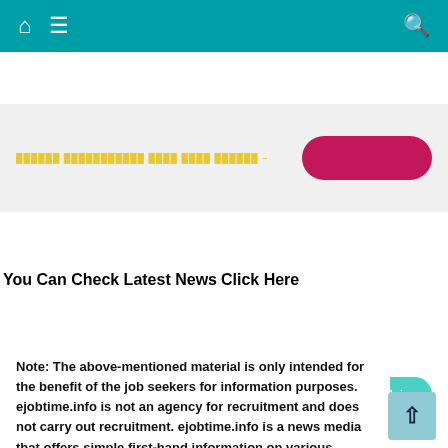Navigation bar with home, menu, and search icons
[Figure (screenshot): Banner area with yellow text and a pink/magenta rounded button on gray background]
Click Here To Join Telegram Channel – Click To Join
| You Can Check Latest News | Click Here |
| --- | --- |
Note: The above-mentioned material is only intended for the benefit of the job seekers for information purposes. ejobtime.info is not an agency for recruitment and does not carry out recruitment. ejobtime.info is a news media that offers simple first-hand information on various recruitments across India. Jobseekers are asked, for details and application procedures, to visit the official website of the company/department.